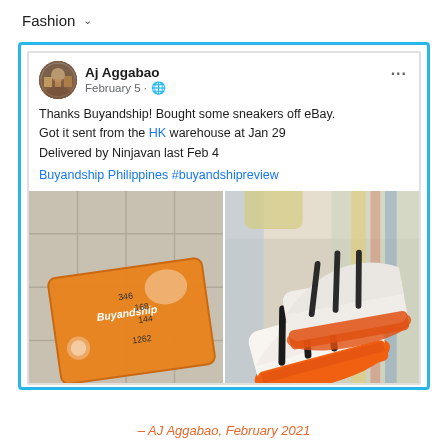Fashion
[Figure (screenshot): Facebook post screenshot from Aj Aggabao dated February 5, showing text about buying sneakers off eBay shipped via Buyandship from HK warehouse on Jan 29 and delivered by Ninjavan on Feb 4. Post includes two photos: an orange Buyandship package on a tiled floor, and a pair of white/black/orange Adidas sneakers.]
– AJ Aggabao, February 2021